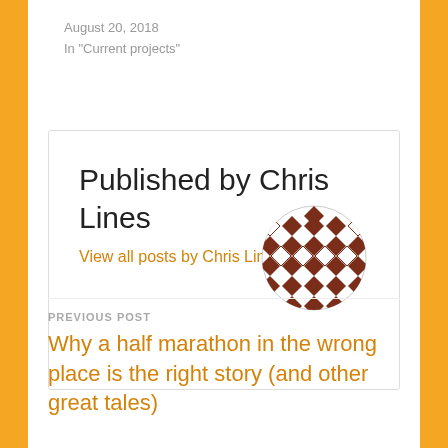August 20, 2018
In "Current projects"
Published by Chris Lines
View all posts by Chris Lines
[Figure (illustration): Circular decorative avatar made of a geometric quilt-like pattern in dark brown/maroon on white background]
PREVIOUS POST
Why a half marathon in the wrong place is the right story (and other great tales)